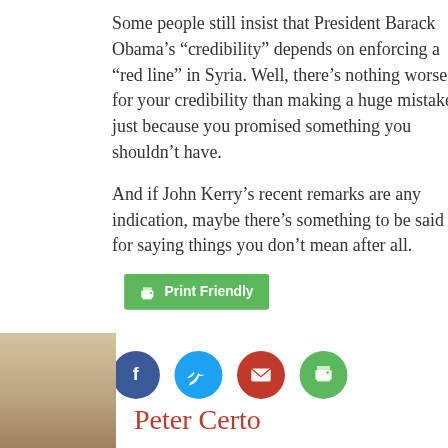Some people still insist that President Barack Obama’s “credibility” depends on enforcing a “red line” in Syria. Well, there’s nothing worse for your credibility than making a huge mistake just because you promised something you shouldn’t have.
And if John Kerry’s recent remarks are any indication, maybe there’s something to be said for saying things you don’t mean after all.
[Figure (other): Print Friendly button (green) and four social sharing icons: Facebook (dark blue circle), Twitter (light blue circle), Email (red circle), Print (green circle)]
[Figure (photo): Author photo of Peter Certo, partial head and shoulders visible]
Peter Certo